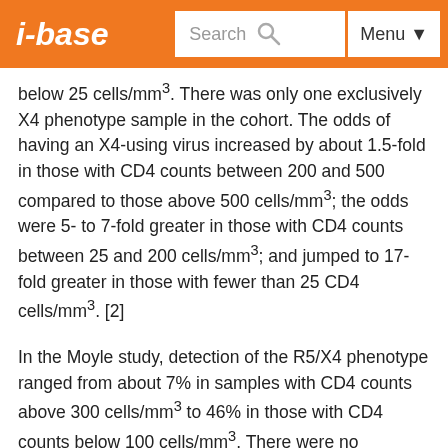i-base | Search | Menu
below 25 cells/mm³. There was only one exclusively X4 phenotype sample in the cohort. The odds of having an X4-using virus increased by about 1.5-fold in those with CD4 counts between 200 and 500 compared to those above 500 cells/mm³; the odds were 5- to 7-fold greater in those with CD4 counts between 25 and 200 cells/mm³; and jumped to 17-fold greater in those with fewer than 25 CD4 cells/mm³. [2]
In the Moyle study, detection of the R5/X4 phenotype ranged from about 7% in samples with CD4 counts above 300 cells/mm³ to 46% in those with CD4 counts below 100 cells/mm³. There were no exclusively X4 phenotype samples. The mean CD4 count for the R5 samples was 307 versus 117 cells/mm3 for the R5/X4 samples. [3]
In neither study was viral load a significant predictor of co…